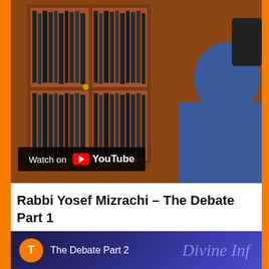[Figure (screenshot): Video thumbnail showing a wooden bookcase filled with dark books and a person in a blue jacket sitting in front of it. A 'Watch on YouTube' overlay is visible at the bottom left.]
Rabbi Yosef Mizrachi – The Debate Part 1
[Figure (screenshot): Second video thumbnail showing 'The Debate Part 2' with an orange circle icon with letter T and decorative script text 'Divine Inf...' in the background.]